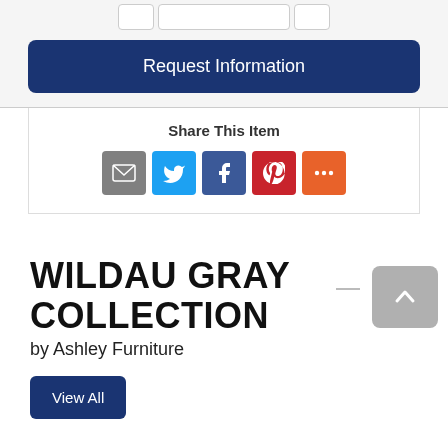[Figure (screenshot): Request Information button UI element - dark navy blue rounded button]
Share This Item
[Figure (infographic): Social share icons: Email (gray), Twitter (blue), Facebook (dark blue), Pinterest (red), More (orange)]
WILDAU GRAY COLLECTION
by Ashley Furniture
[Figure (screenshot): View All button - dark navy blue rounded button]